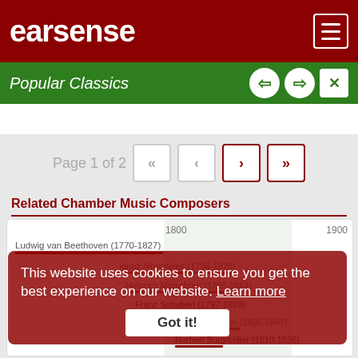earsense
Popular Classics
Page 1 of 2
Related Chamber Music Composers
[Figure (infographic): Timeline of Related Chamber Music Composers showing horizontal lifespan bars. Composers listed: Ludwig van Beethoven (1770-1827), Ignaz Moscheles (1794-1870), Heinrich Marschner (1795-1861), Franz Schubert (1797-1828), Felix Mendelssohn (1809-1847), Norbert Burgmüller (1810-1836). Year markers 1800 and 1900 shown.]
This website uses cookies to ensure you get the best experience on our website. Learn more
Got it!